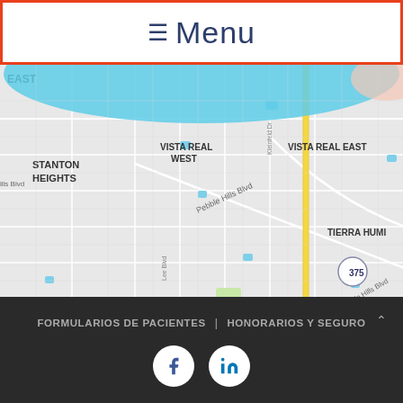≡ Menu
[Figure (map): Google Maps view showing El Paso TX neighborhoods including Stanton Heights, Vista Real West, Vista Real East, Tierra Humilde, Vista Hills East, Sun Ridge North, Los Paseos, with Pebble Hills Blvd and Route 375 visible. A cyan/blue arc overlay appears at the top of the map. Showtyme Sports venue is marked in orange.]
FORMULARIOS DE PACIENTES | HONORARIOS Y SEGURO